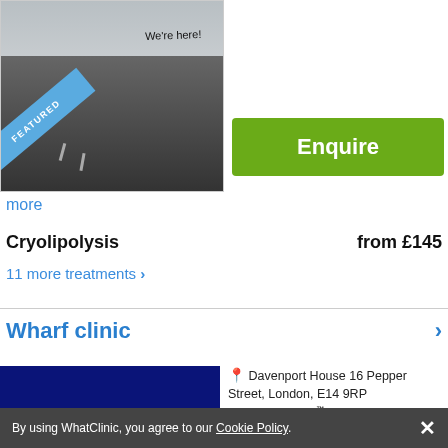[Figure (photo): Clinic exterior photo with 'We're here!' text and a blue 'FEATURED' ribbon banner]
Enquire
more
Cryolipolysis
from £145
11 more treatments >
Wharf clinic
[Figure (photo): Solid dark navy blue clinic image placeholder]
Davenport House 16 Pepper Street, London, E14 9RP
ServiceScore™
Good 6.9
By using WhatClinic, you agree to our Cookie Policy.